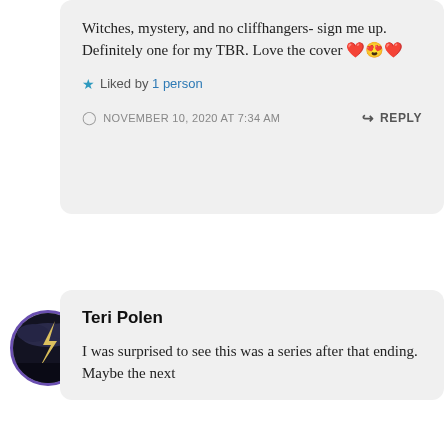Witches, mystery, and no cliffhangers- sign me up. Definitely one for my TBR. Love the cover ❤️😍❤️
Liked by 1 person
NOVEMBER 10, 2020 AT 7:34 AM
REPLY
[Figure (photo): Avatar image of Teri Polen — circular profile photo showing a lightning bolt in dark sky, purple border]
Teri Polen
I was surprised to see this was a series after that ending. Maybe the next